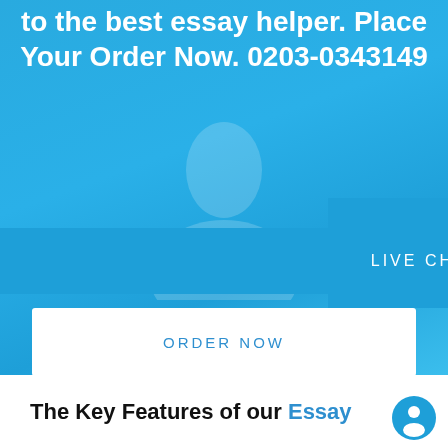to the best essay helper. Place Your Order Now. 0203-0343149
[Figure (screenshot): Live chat button bar with chat bubble icon on the right]
[Figure (screenshot): Order Now button (white bar with blue text)]
The Key Features of our Essay